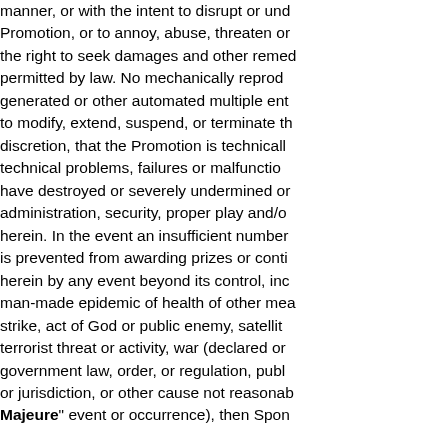manner, or with the intent to disrupt or undermine the Promotion, or to annoy, abuse, threaten or the right to seek damages and other remedies permitted by law. No mechanically reproduced, generated or other automated multiple entries to modify, extend, suspend, or terminate the discretion, that the Promotion is technically technical problems, failures or malfunctions have destroyed or severely undermined or administration, security, proper play and/or herein. In the event an insufficient number is prevented from awarding prizes or continuing herein by any event beyond its control, including man-made epidemic of health of other measures, strike, act of God or public enemy, satellite terrorist threat or activity, war (declared or government law, order, or regulation, public or jurisdiction, or other cause not reasonably Force Majeure" event or occurrence), then Sponsor